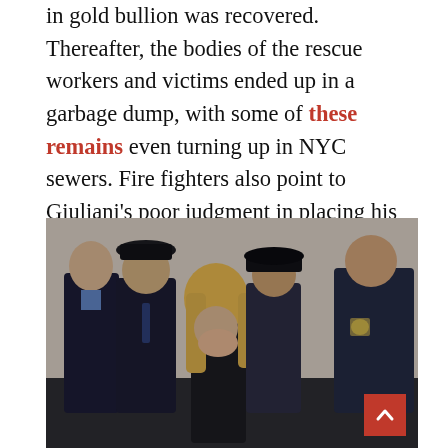in gold bullion was recovered. Thereafter, the bodies of the rescue workers and victims ended up in a garbage dump, with some of these remains even turning up in NYC sewers. Fire fighters also point to Giuliani's poor judgment in placing his emergency command center at 7 World Trade Center, a known terrorist target after the 1993 bombing.
[Figure (photo): A grieving woman with long blonde hair covering her face with her hand, surrounded by men in dark firefighter dress uniforms, at what appears to be a memorial or funeral service. A red scroll-to-top button is visible in the bottom right corner.]